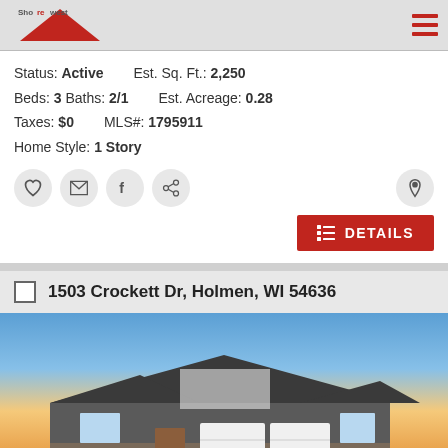Shorewest
Status: Active   Est. Sq. Ft.: 2,250
Beds: 3 Baths: 2/1   Est. Acreage: 0.28
Taxes: $0   MLS#: 1795911
Home Style: 1 Story
[Figure (infographic): Action icons row: heart, email, facebook, share, location pin; and a red DETAILS button]
1503 Crockett Dr, Holmen, WI 54636
[Figure (photo): Exterior photo of a one-story house at dusk with two-car garage, gray siding, and stone accents]